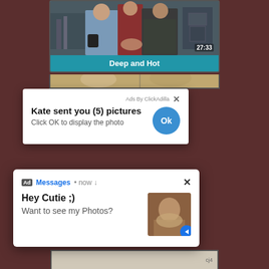[Figure (screenshot): Video thumbnail showing people in industrial setting with timestamp 27:33]
Deep and Hot
[Figure (screenshot): Partial second video thumbnail strip]
[Figure (screenshot): Ad popup from ClickAdilla: Kate sent you (5) pictures - Click OK to display the photo, with OK button]
[Figure (screenshot): Ad notification: Ad Messages now - Hey Cutie ;) Want to see my Photos? with thumbnail image]